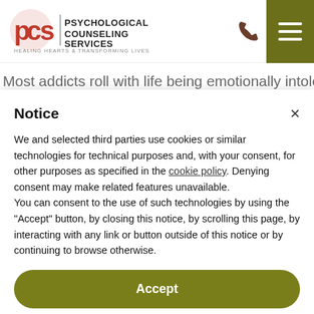[Figure (logo): PCS Psychological Counseling Services logo with tagline 'Healing Hearts & Transforming Lives']
Most addicts roll with life being emotionally intolerant
Notice
We and selected third parties use cookies or similar technologies for technical purposes and, with your consent, for other purposes as specified in the cookie policy. Denying consent may make related features unavailable.
You can consent to the use of such technologies by using the “Accept” button, by closing this notice, by scrolling this page, by interacting with any link or button outside of this notice or by continuing to browse otherwise.
Accept
Learn more and customize